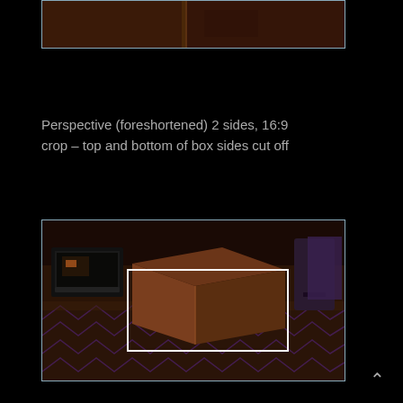[Figure (photo): Top partial photo showing a brown box on a patterned surface, cropped at top and bottom — only the middle portion visible with a light blue border frame.]
Perspective (foreshortened) 2 sides, 16:9 crop – top and bottom of box sides cut off
[Figure (photo): Photo of a brown cardboard box on a patterned rug with a laptop visible in the background left and a dark object on the right. A white rectangle highlights the front two sides of the box showing perspective foreshortening.]